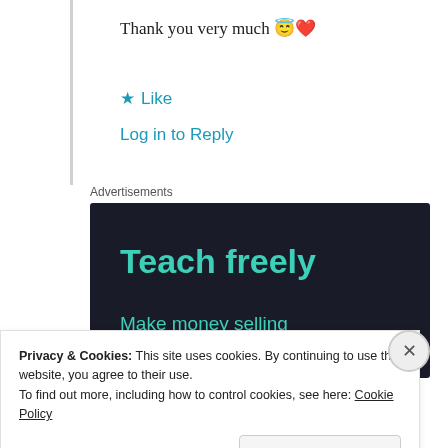Thank you very much 😇❤️
★ Like
Log in to Reply
Advertisements
[Figure (illustration): Dark background advertisement banner with teal text reading 'Teach freely' and 'Make money selling online courses.']
Privacy & Cookies: This site uses cookies. By continuing to use this website, you agree to their use. To find out more, including how to control cookies, see here: Cookie Policy
Close and accept